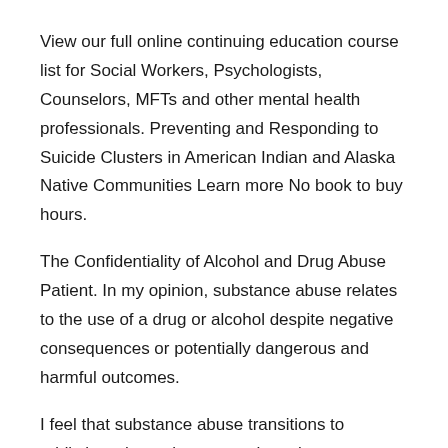View our full online continuing education course list for Social Workers, Psychologists, Counselors, MFTs and other mental health professionals. Preventing and Responding to Suicide Clusters in American Indian and Alaska Native Communities Learn more No book to buy hours.
The Confidentiality of Alcohol and Drug Abuse Patient. In my opinion, substance abuse relates to the use of a drug or alcohol despite negative consequences or potentially dangerous and harmful outcomes.
I feel that substance abuse transitions to addiction when tolerance to the substance develops, as well as when discontinuation of the substance elicits physical and psychological withdrawal symptoms. This article summarizes the contents of Alcohol: No Ordinary Commodity (2nd edn). The first part of the book describes why alcohol is not an ordinary commodity, and reviews epidemiological data that establish alcohol as a major contributor to the global burden of disease, disability and death in high-, middle- and low-income